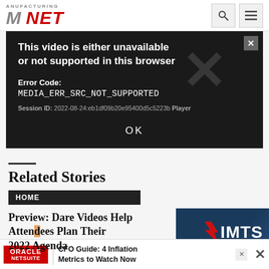[Figure (screenshot): Manufacturing.net website header with logo and navigation icons (search and menu)]
[Figure (screenshot): Video player error overlay on dark background. Title: 'This video is either unavailable or not supported in this browser'. Error Code: MEDIA_ERR_SRC_NOT_SUPPORTED. Session ID: 2022-08-24:eb1df09b20e95400d5c5223b Player. OK button. Large X icon in background.]
Related Stories
HOME
Preview: Dare Videos Help Attendees Plan Their 2022 Agenda
[Figure (screenshot): IMTS advertisement banner with red logo icon and LIVE PREVIEW text]
[Figure (screenshot): Oracle NetSuite advertisement banner: CFO Guide: 4 Inflation Metrics to Watch Now]